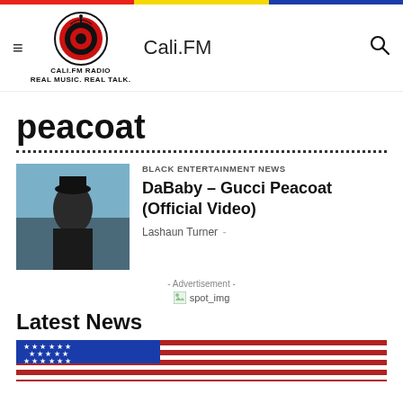Cali.FM
peacoat
BLACK ENTERTAINMENT NEWS
DaBaby – Gucci Peacoat (Official Video)
Lashaun Turner -
- Advertisement -
[Figure (other): Advertisement placeholder image (spot_img)]
Latest News
[Figure (photo): American flag photo thumbnail]